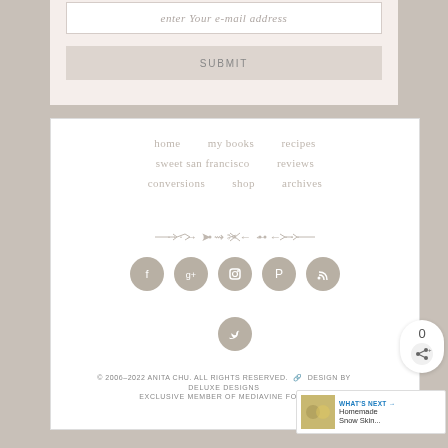enter Your e-mail address
SUBMIT
home   my books   recipes
sweet san francisco   reviews
conversions   shop   archives
[Figure (illustration): Decorative ornamental divider made of arrow and leaf motifs]
[Figure (illustration): Social media icons: Facebook, Google+, Instagram, Pinterest, RSS, Twitter — circular tan/beige buttons]
0
[Figure (illustration): Share icon button with count 0]
© 2006–2022 ANITA CHU. ALL RIGHTS RESERVED. DESIGN BY DELUXE DESIGNS
EXCLUSIVE MEMBER OF MEDIAVINE FOOD
[Figure (illustration): What's Next panel: Homemade Snow Skin...]